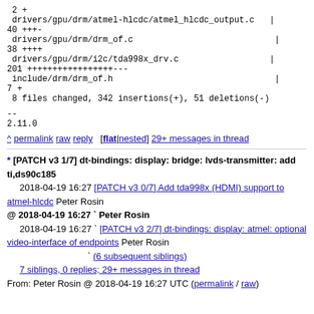2 +
 drivers/gpu/drm/atmel-hlcdc/atmel_hlcdc_output.c   |
40 +++- 
 drivers/gpu/drm/drm_of.c                           |
38 ++++
 drivers/gpu/drm/i2c/tda998x_drv.c                 |
201 +++++++++++++++++---
 include/drm/drm_of.h                               |
7 +
 8 files changed, 342 insertions(+), 51 deletions(-)
--
2.11.0
^ permalink raw reply   [flat|nested] 29+ messages in thread
* [PATCH v3 1/7] dt-bindings: display: bridge: lvds-transmitter: add ti,ds90c185
  2018-04-19 16:27 [PATCH v3 0/7] Add tda998x (HDMI) support to atmel-hlcdc Peter Rosin
@ 2018-04-19 16:27 ` Peter Rosin
  2018-04-19 16:27 ` [PATCH v3 2/7] dt-bindings: display: atmel: optional video-interface of endpoints Peter Rosin
                   ` (6 subsequent siblings)
    7 siblings, 0 replies; 29+ messages in thread
From: Peter Rosin @ 2018-04-19 16:27 UTC (permalink / raw)